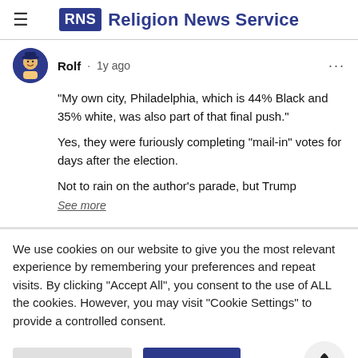RNS Religion News Service
Rolf · 1y ago
"My own city, Philadelphia, which is 44% Black and 35% white, was also part of that final push."

Yes, they were furiously completing "mail-in" votes for days after the election.

Not to rain on the author's parade, but Trump
See more
We use cookies on our website to give you the most relevant experience by remembering your preferences and repeat visits. By clicking "Accept All", you consent to the use of ALL the cookies. However, you may visit "Cookie Settings" to provide a controlled consent.
Cookie Settings | Accept All